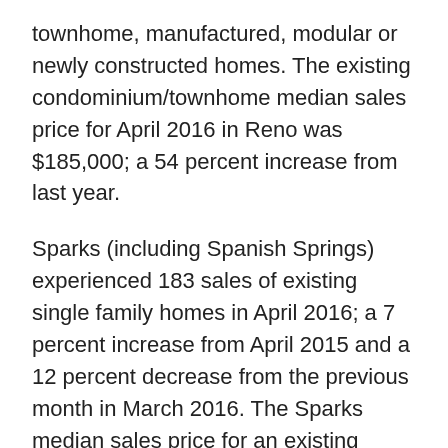townhome, manufactured, modular or newly constructed homes. The existing condominium/townhome median sales price for April 2016 in Reno was $185,000; a 54 percent increase from last year.
Sparks (including Spanish Springs) experienced 183 sales of existing single family homes in April 2016; a 7 percent increase from April 2015 and a 12 percent decrease from the previous month in March 2016. The Sparks median sales price for an existing single family residence in April 2016 was $285,000; a 12 percent increase from last year in April 2015 and a 2 percent increase from March 2016. All sales numbers are for existing “stick built single family dwellings” only and do not include condominium, townhome